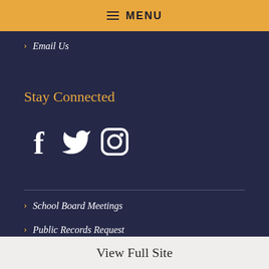MENU
Email Us
Stay Connected
[Figure (illustration): Social media icons: Facebook, Twitter, Instagram]
School Board Meetings
Public Records Request
ADA Compliance Statement
View Full Site